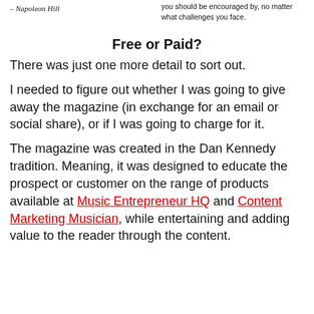– Napoleon Hill
you should be encouraged by, no matter what challenges you face.
Free or Paid?
There was just one more detail to sort out.
I needed to figure out whether I was going to give away the magazine (in exchange for an email or social share), or if I was going to charge for it.
The magazine was created in the Dan Kennedy tradition. Meaning, it was designed to educate the prospect or customer on the range of products available at Music Entrepreneur HQ and Content Marketing Musician, while entertaining and adding value to the reader through the content.